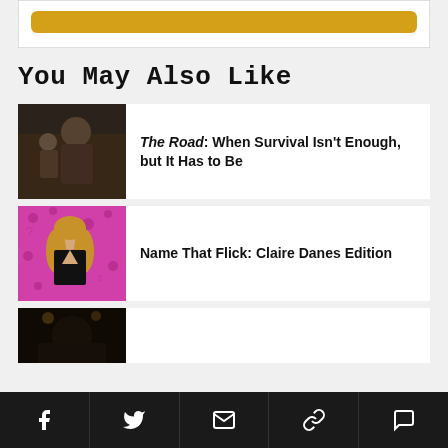[Figure (other): Gold/amber rounded button bar at top of page]
You May Also Like
[Figure (photo): Movie still from The Road showing two figures, bearded man holding child, dark tones]
The Road: When Survival Isn't Enough, but It Has to Be
[Figure (photo): Claire Danes against pink leopard-print background, black outfit]
Name That Flick: Claire Danes Edition
[Figure (photo): Partially visible third article thumbnail, dark concert or stage scene]
Facebook | Twitter | Email | Link | Comment